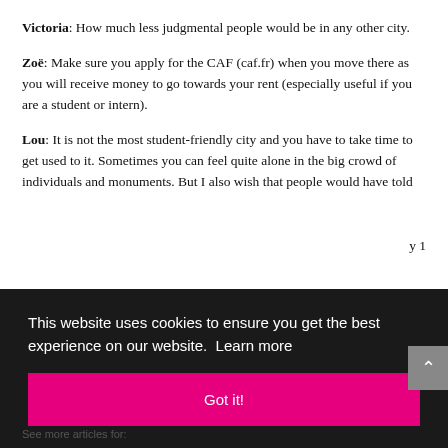Victoria: How much less judgmental people would be in any other city.
Zoë: Make sure you apply for the CAF (caf.fr) when you move there as you will receive money to go towards your rent (especially useful if you are a student or intern).
Lou: It is not the most student-friendly city and you have to take time to get used to it. Sometimes you can feel quite alone in the big crowd of individuals and monuments. But I also wish that people would have told
This website uses cookies to ensure you get the best experience on our website. Learn more
Got it!